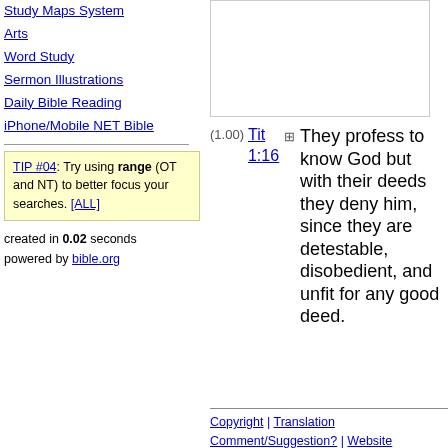Study Maps System
Arts
Word Study
Sermon Illustrations
Daily Bible Reading
iPhone/Mobile NET Bible
TIP #04: Try using range (OT and NT) to better focus your searches. [ALL]
created in 0.02 seconds
powered by bible.org
(1.00) Tit 1:16 ⊞ They profess to know God but with their deeds they deny him, since they are detestable, disobedient, and unfit for any good deed.
Copyright | Translation Comment/Suggestion? | Website Problem/Suggestion?